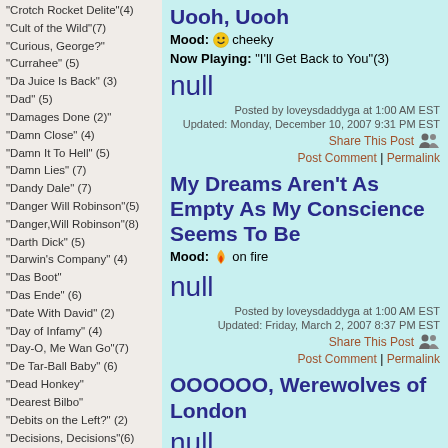"Crotch Rocket Delite"(4)
"Cult of the Wild"(7)
"Curious, George?"
"Currahee" (5)
"Da Juice Is Back" (3)
"Dad" (5)
"Damages Done (2)"
"Damn Close" (4)
"Damn It To Hell" (5)
"Damn Lies" (7)
"Dandy Dale" (7)
"Danger Will Robinson"(5)
"Danger,Will Robinson"(8)
"Darth Dick" (5)
"Darwin's Company" (4)
"Das Boot"
"Das Ende" (6)
"Date With David" (2)
"Day of Infamy" (4)
"Day-O, Me Wan Go"(7)
"De Tar-Ball Baby" (6)
"Dead Honkey"
"Dearest Bilbo"
"Debits on the Left?" (2)
"Decisions, Decisions"(6)
"Deep and Dark" (5)
"Deep Shiite" (3)
"Degree of Separation"(6)
Uooh, Uooh
Mood: cheeky
Now Playing: "I'll Get Back to You"(3)
null
Posted by loveysdaddyga at 1:00 AM EST
Updated: Monday, December 10, 2007 9:31 PM EST
Share This Post
Post Comment | Permalink
My Dreams Aren't As Empty As My Conscience Seems To Be
Mood: on fire
null
Posted by loveysdaddyga at 1:00 AM EST
Updated: Friday, March 2, 2007 8:37 PM EST
Share This Post
Post Comment | Permalink
OOOOOO, Werewolves of London
null